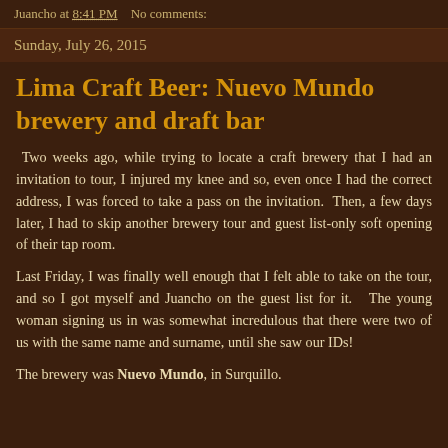Juancho at 8:41 PM    No comments:
Sunday, July 26, 2015
Lima Craft Beer: Nuevo Mundo brewery and draft bar
Two weeks ago, while trying to locate a craft brewery that I had an invitation to tour, I injured my knee and so, even once I had the correct address, I was forced to take a pass on the invitation.  Then, a few days later, I had to skip another brewery tour and guest list-only soft opening of their tap room.
Last Friday, I was finally well enough that I felt able to take on the tour, and so I got myself and Juancho on the guest list for it.   The young woman signing us in was somewhat incredulous that there were two of us with the same name and surname, until she saw our IDs!
The brewery was Nuevo Mundo, in Surquillo.